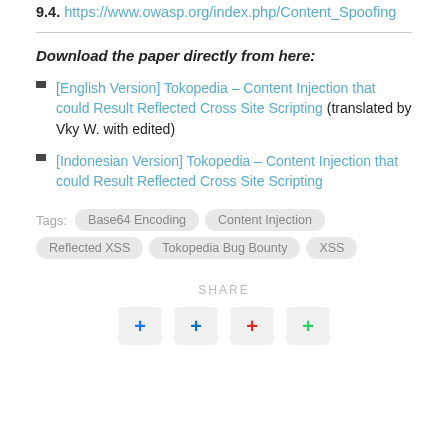9.4. https://www.owasp.org/index.php/Content_Spoofing
Download the paper directly from here:
[English Version] Tokopedia – Content Injection that could Result Reflected Cross Site Scripting (translated by Vky W. with edited)
[Indonesian Version] Tokopedia – Content Injection that could Result Reflected Cross Site Scripting
Tags: Base64 Encoding  Content Injection  Reflected XSS  Tokopedia Bug Bounty  XSS
SHARE